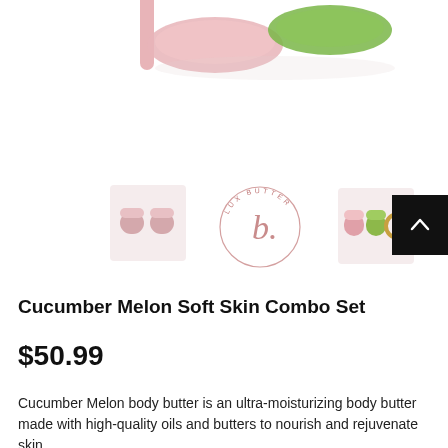[Figure (photo): Product photo showing pink and green body butter jars/tubes from above on a white background, partially cropped at top]
[Figure (photo): Thumbnail: two small pink jars side by side]
[Figure (logo): Lux Butter brand logo — circular script logo with 'LUX BUTTER' text and stylized 'b' in center, in rose/pink tone]
[Figure (photo): Thumbnail: pink jar, green jar, and gold ring product set]
Cucumber Melon Soft Skin Combo Set
$50.99
Cucumber Melon body butter is an ultra-moisturizing body butter made with high-quality oils and butters to nourish and rejuvenate skin...